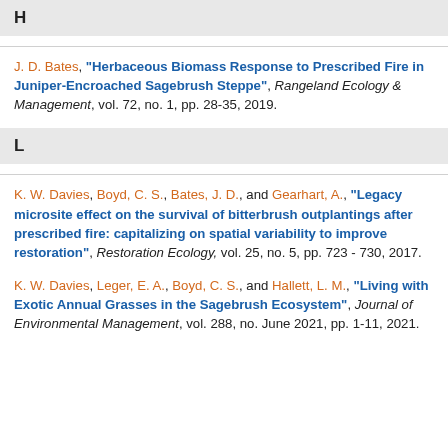H
J. D. Bates, "Herbaceous Biomass Response to Prescribed Fire in Juniper-Encroached Sagebrush Steppe", Rangeland Ecology & Management, vol. 72, no. 1, pp. 28-35, 2019.
L
K. W. Davies, Boyd, C. S., Bates, J. D., and Gearhart, A., "Legacy microsite effect on the survival of bitterbrush outplantings after prescribed fire: capitalizing on spatial variability to improve restoration", Restoration Ecology, vol. 25, no. 5, pp. 723 - 730, 2017.
K. W. Davies, Leger, E. A., Boyd, C. S., and Hallett, L. M., "Living with Exotic Annual Grasses in the Sagebrush Ecosystem", Journal of Environmental Management, vol. 288, no. June 2021, pp. 1-11, 2021.